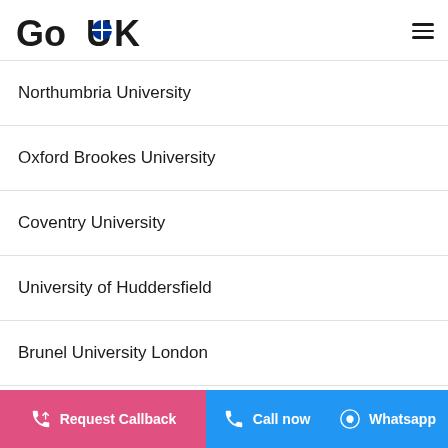GoUK
Northumbria University
Oxford Brookes University
Coventry University
University of Huddersfield
Brunel University London
Middlesex University
Request Callback | Call now | Whatsapp